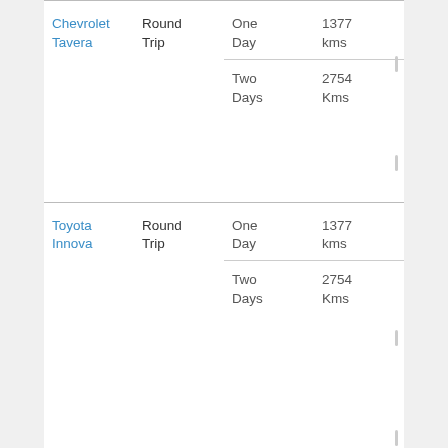| Vehicle | Trip Type | Duration | Distance |
| --- | --- | --- | --- |
| Chevrolet Tavera | Round Trip | One Day | 1377 kms |
|  |  | Two Days | 2754 Kms |
| Toyota Innova | Round Trip | One Day | 1377 kms |
|  |  | Two Days | 2754 Kms |